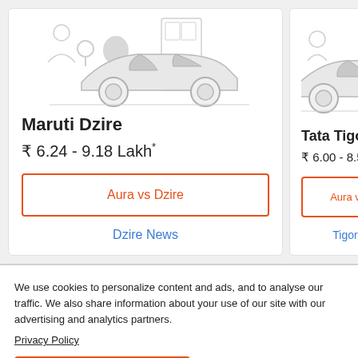[Figure (illustration): Illustration of a car (sedan silhouette) with tree and pin icons in light grey, representing Maruti Dzire]
Maruti Dzire
₹ 6.24 - 9.18 Lakh*
Aura vs Dzire
Dzire News
[Figure (illustration): Partial illustration of a car (sedan silhouette) with tree and pin icons in light grey, representing Tata Tigor]
Tata Tigor
₹ 6.00 - 8.59 L
Aura v
Tigor
We use cookies to personalize content and ads, and to analyse our traffic. We also share information about your use of our site with our advertising and analytics partners.
Privacy Policy
I Accept